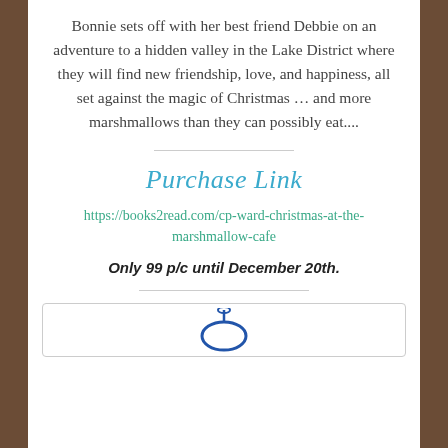Bonnie sets off with her best friend Debbie on an adventure to a hidden valley in the Lake District where they will find new friendship, love, and happiness, all set against the magic of Christmas … and more marshmallows than they can possibly eat....
Purchase Link
https://books2read.com/cp-ward-christmas-at-the-marshmallow-cafe
Only 99 p/c until December 20th.
[Figure (logo): Partial logo visible at bottom of page inside a bordered box]